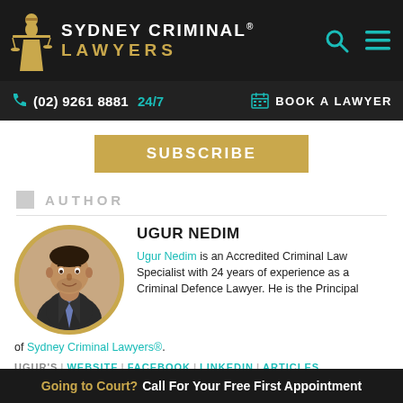SYDNEY CRIMINAL® LAWYERS
(02) 9261 8881  24/7   BOOK A LAWYER
SUBSCRIBE
AUTHOR
UGUR NEDIM
Ugur Nedim is an Accredited Criminal Law Specialist with 24 years of experience as a Criminal Defence Lawyer. He is the Principal of Sydney Criminal Lawyers®.
UGUR'S  |WEBSITE  |FACEBOOK  |LINKEDIN  |ARTICLES
Going to Court? Call For Your Free First Appointment